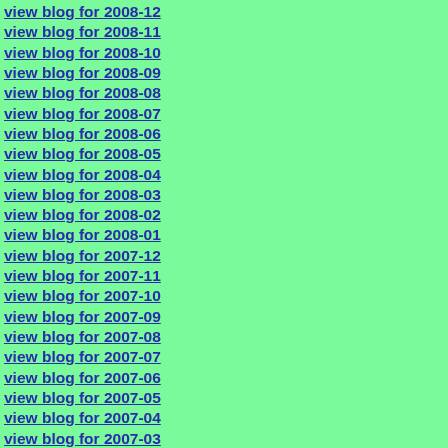view blog for 2008-12
view blog for 2008-11
view blog for 2008-10
view blog for 2008-09
view blog for 2008-08
view blog for 2008-07
view blog for 2008-06
view blog for 2008-05
view blog for 2008-04
view blog for 2008-03
view blog for 2008-02
view blog for 2008-01
view blog for 2007-12
view blog for 2007-11
view blog for 2007-10
view blog for 2007-09
view blog for 2007-08
view blog for 2007-07
view blog for 2007-06
view blog for 2007-05
view blog for 2007-04
view blog for 2007-03
view blog for 2007-02
view blog for 2007-01
view blog for 2006-12